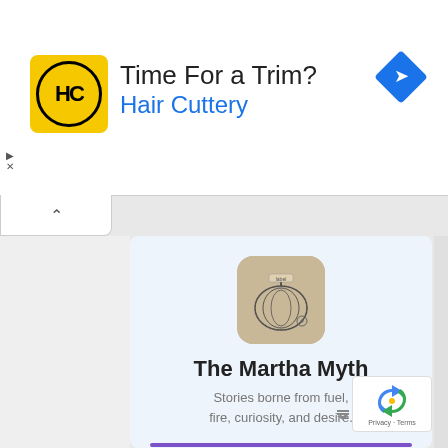[Figure (screenshot): Advertisement banner for Hair Cuttery with yellow HC logo on left, text 'Time For a Trim? Hair Cuttery' and blue navigation diamond icon on right]
[Figure (illustration): Publication icon for The Martha Myth newsletter - rounded square with tan/brown background showing an engraved-style illustration]
The Martha Myth
Stories borne from fuel, fire, curiosity, and desire.
Type your email...  Subscribe
[Figure (logo): Substack logo in gray text at bottom right]
[Figure (logo): reCAPTCHA badge with Privacy and Terms text at bottom right corner]